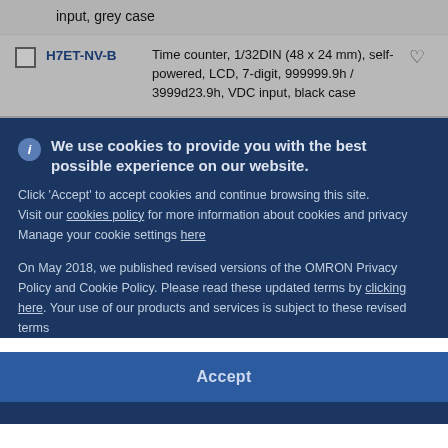input, grey case
|  | Model | Description |  |
| --- | --- | --- | --- |
| ☐ | H7ET-NV-B | Time counter, 1/32DIN (48 x 24 mm), self-powered, LCD, 7-digit, 999999.9h / 3999d23.9h, VDC input, black case | ♡ |
We use cookies to provide you with the best possible experience on our website. Click 'Accept' to accept cookies and continue browsing this site. Visit our cookies policy for more information about cookies and privacy. Manage your cookie settings here
On May 2018, we published revised versions of the OMRON Privacy Policy and Cookie Policy. Please read these updated terms by clicking here. Your use of our products and services is subject to these revised terms
Accept